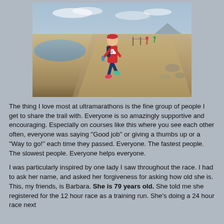[Figure (photo): A runner in a red shirt and blue shorts running on a dirt path near a body of water in a desert landscape. The runner is wearing colorful shoes and a race bib.]
The thing I love most at ultramarathons is the fine group of people I get to share the trail with. Everyone is so amazingly supportive and encouraging. Especially on courses like this where you see each other often, everyone was saying "Good job" or giving a thumbs up or a "Way to go!" each time they passed. Everyone. The fastest people. The slowest people. Everyone helps everyone.
I was particularly inspired by one lady I saw throughout the race. I had to ask her name, and asked her forgiveness for asking how old she is. This, my friends, is Barbara. She is 79 years old. She told me she registered for the 12 hour race as a training run. She's doing a 24 hour race next